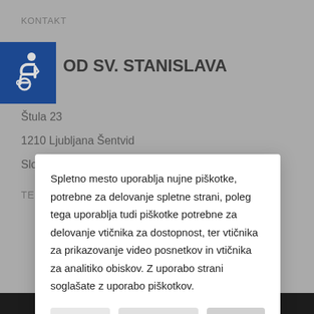KONTAKT
[Figure (illustration): Blue accessibility icon with wheelchair symbol]
OD SV. STANISLAVA
Štula 23
1210 Ljubljana Šentvid
Slovenija
Spletno mesto uporablja nujne piškotke, potrebne za delovanje spletne strani, poleg tega uporablja tudi piškotke potrebne za delovanje vtičnika za dostopnost, ter vtičnika za prikazovanje video posnetkov in vtičnika za analitiko obiskov. Z uporabo strani soglašate z uporabo piškotkov.
Zavrni
Nastavitve
Potrdi